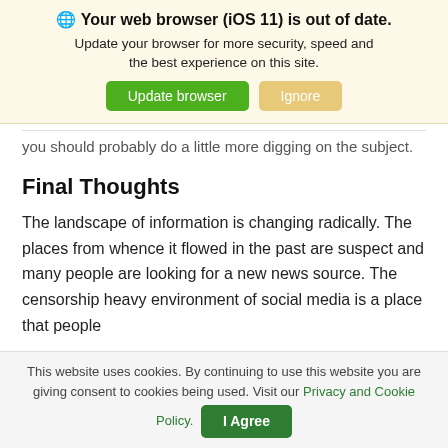🌐 Your web browser (iOS 11) is out of date. Update your browser for more security, speed and the best experience on this site. [Update browser] [Ignore]
...you should probably do a little more digging on the subject.
Final Thoughts
The landscape of information is changing radically. The places from whence it flowed in the past are suspect and many people are looking for a new news source. The censorship heavy environment of social media is a place that people
This website uses cookies. By continuing to use this website you are giving consent to cookies being used. Visit our Privacy and Cookie Policy. [I Agree]